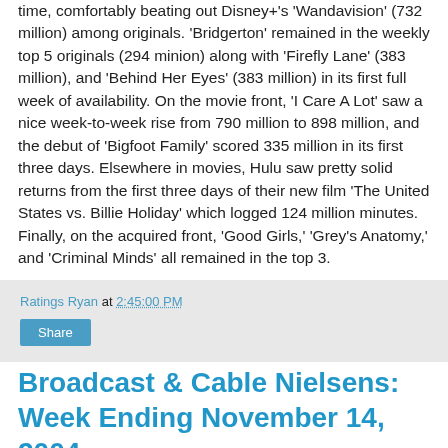time, comfortably beating out Disney+'s 'Wandavision' (732 million) among originals. 'Bridgerton' remained in the weekly top 5 originals (294 minion) along with 'Firefly Lane' (383 million), and 'Behind Her Eyes' (383 million) in its first full week of availability. On the movie front, 'I Care A Lot' saw a nice week-to-week rise from 790 million to 898 million, and the debut of 'Bigfoot Family' scored 335 million in its first three days. Elsewhere in movies, Hulu saw pretty solid returns from the first three days of their new film 'The United States vs. Billie Holiday' which logged 124 million minutes. Finally, on the acquired front, 'Good Girls,' 'Grey's Anatomy,' and 'Criminal Minds' all remained in the top 3.
Ratings Ryan at 2:45:00 PM
Share
Broadcast & Cable Nielsens: Week Ending November 14, 2004